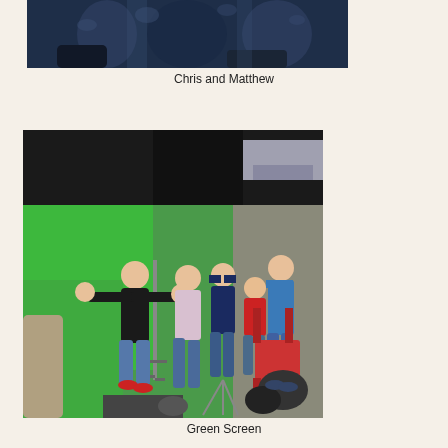[Figure (photo): Partial view of two people (Chris and Matthew) against a dark blue draped background, photo cropped at top]
Chris and Matthew
[Figure (photo): Group of people on a green screen film set. Several individuals are visible including one person in a black shirt with arms outstretched, another in a blue shirt, one in a red shirt, and others. Green flooring and green screen backdrop visible, along with film equipment, chairs, and bags.]
Green Screen